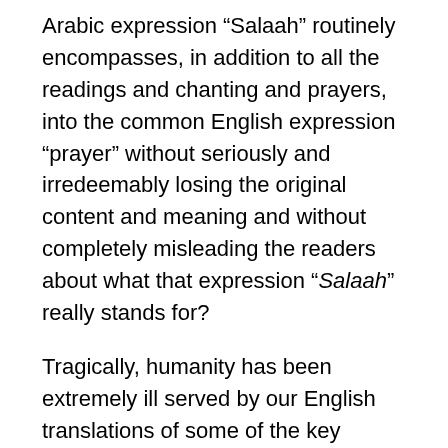Arabic expression “Salaah” routinely encompasses, in addition to all the readings and chanting and prayers, into the common English expression “prayer” without seriously and irredeemably losing the original content and meaning and without completely misleading the readers about what that expression “Salaah” really stands for?
Tragically, humanity has been extremely ill served by our English translations of some of the key expressions of the Qur’an.
Again – Salaat – one unit of it – involves standing upright; it involves sitting with your knees folded under you; it involves prostrating in a fetal position;